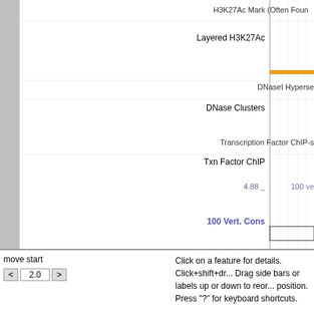H3K27Ac Mark (Often Found...)
Layered H3K27Ac
DNaseI Hyperse...
DNase Clusters
Transcription Factor ChIP-s...
Txn Factor ChIP
4.88
100 ve...
100 Vert. Cons
-4.5
Gaps
Human
Rhesus
Mouse
Dog
Elephant
Chicken
X_tropicalis
Zebrafish
Short...
Common dbSNP(153)
R...
RepeatMasker
move start
Click on a feature for details. Click+shift+dr... Drag side bars or labels up or down to reor... position. Press "?" for keyboard shortcuts.